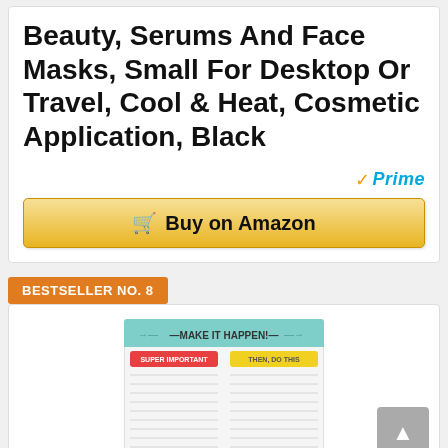Beauty, Serums And Face Masks, Small For Desktop Or Travel, Cool & Heat, Cosmetic Application, Black
[Figure (logo): Amazon Prime badge with checkmark]
[Figure (other): Buy on Amazon button with shopping cart icon]
BESTSELLER NO. 8
[Figure (photo): Notepad product image with 'Make It Happen!' header and two columns: 'Super Important' and 'Then, Do This']